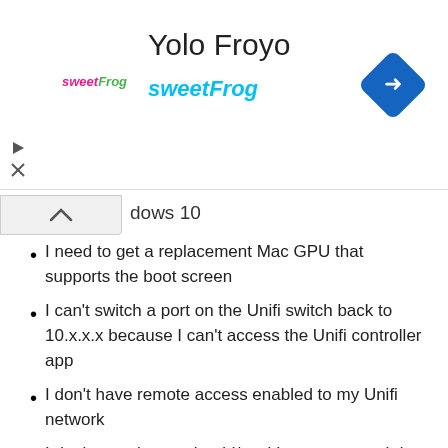[Figure (screenshot): SweetFrog frozen yogurt ad banner with logo, title 'Yolo Froyo', 'sweetFrog' branding in cyan, and a blue diamond navigation icon in the top right]
dows 10
I need to get a replacement Mac GPU that supports the boot screen
I can't switch a port on the Unifi switch back to 10.x.x.x because I can't access the Unifi controller app
I don't have remote access enabled to my Unifi network
I don't even know what id/pwd I can use to ssh into the Unifi switch
Next steps:
Cheap replacement Nvidia GT 120 ordered on ebay for $30.